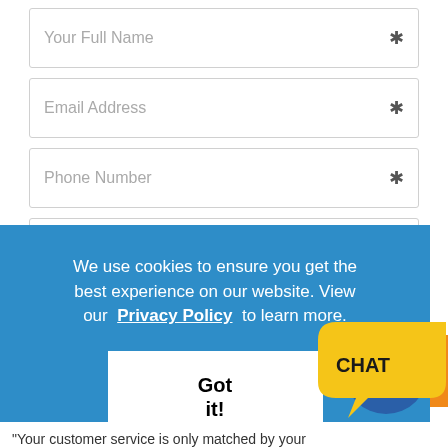Your Full Name *
Email Address *
Phone Number *
Question & Comments
We use cookies to ensure you get the best experience on our website. View our Privacy Policy to learn more.
Got it!
[Figure (other): Chat widget with blue speech bubble and yellow speech bubble with CHAT text]
“Your customer service is only matched by your